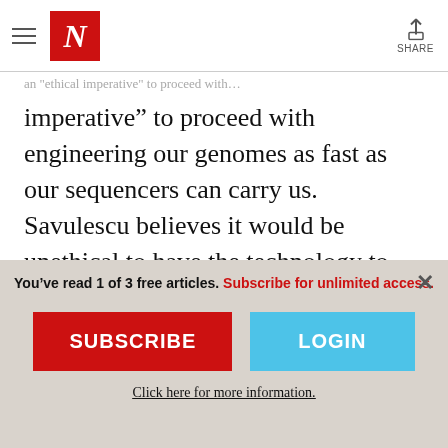N (Newsweek/New Republic logo) | SHARE
imperative” to proceed with engineering our genomes as fast as our sequencers can carry us. Savulescu believes it would be unethical to have the technology to produce better children and not use it. (For once, I’m with the conservatives.)
This debate is very familiar to a historian.
You’ve read 1 of 3 free articles. Subscribe for unlimited access.
SUBSCRIBE
LOGIN
Click here for more information.